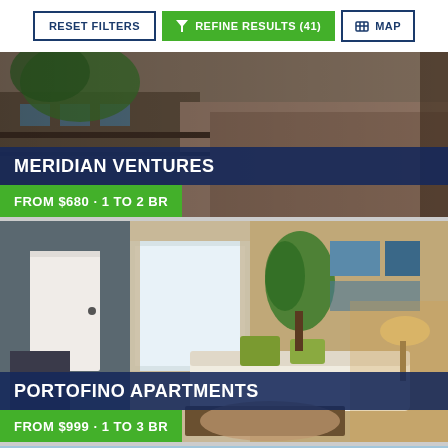[Figure (screenshot): App toolbar with Reset Filters, Refine Results (41), and Map buttons]
[Figure (photo): Apartment exterior photo for Meridian Ventures listing]
MERIDIAN VENTURES
FROM $680 • 1 TO 2 BR
[Figure (photo): Apartment interior photo for Portofino Apartments listing]
PORTOFINO APARTMENTS
FROM $999 • 1 TO 3 BR
[Figure (photo): Apartment exterior photo (third listing, partially visible)]